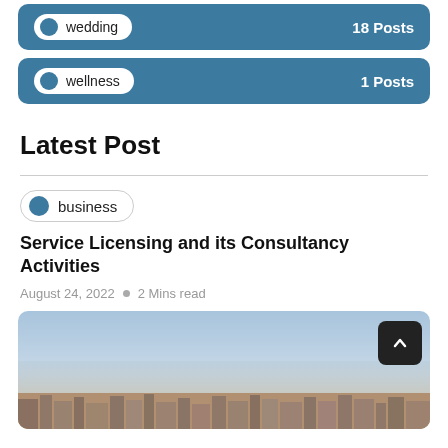wedding — 18 Posts
wellness — 1 Posts
Latest Post
business
Service Licensing and its Consultancy Activities
August 24, 2022  ○  2 Mins read
[Figure (photo): A cityscape photo with blue/hazy sky and dense urban buildings in the lower portion]